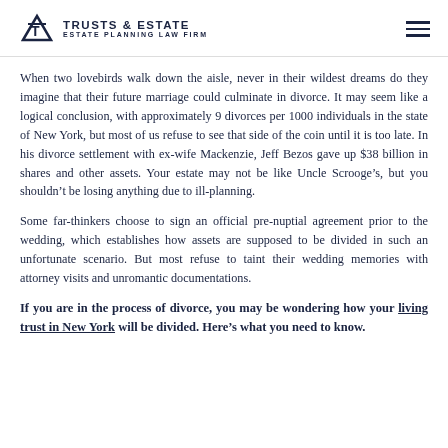TRUSTS & ESTATE ESTATE PLANNING LAW FIRM
When two lovebirds walk down the aisle, never in their wildest dreams do they imagine that their future marriage could culminate in divorce. It may seem like a logical conclusion, with approximately 9 divorces per 1000 individuals in the state of New York, but most of us refuse to see that side of the coin until it is too late. In his divorce settlement with ex-wife Mackenzie, Jeff Bezos gave up $38 billion in shares and other assets. Your estate may not be like Uncle Scrooge’s, but you shouldn’t be losing anything due to ill-planning.
Some far-thinkers choose to sign an official pre-nuptial agreement prior to the wedding, which establishes how assets are supposed to be divided in such an unfortunate scenario. But most refuse to taint their wedding memories with attorney visits and unromantic documentations.
If you are in the process of divorce, you may be wondering how your living trust in New York will be divided. Here’s what you need to know.